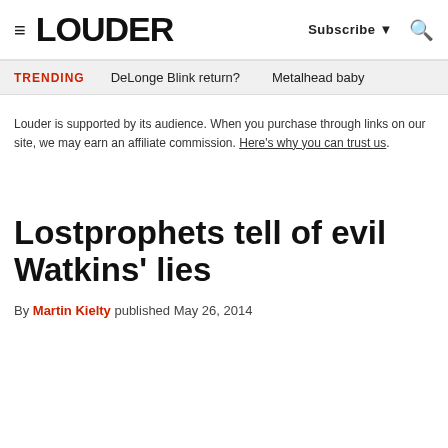LOUDER  Subscribe ▼  🔍
TRENDING  DeLonge Blink return?  Metalhead baby
Louder is supported by its audience. When you purchase through links on our site, we may earn an affiliate commission. Here's why you can trust us.
Lostprophets tell of evil Watkins' lies
By Martin Kielty published May 26, 2014